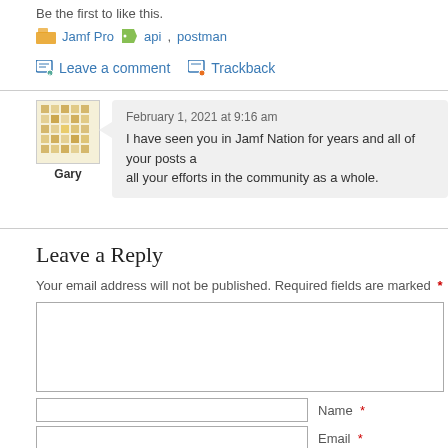Be the first to like this.
Jamf Pro   api, postman
Leave a comment   Trackback
February 1, 2021 at 9:16 am
I have seen you in Jamf Nation for years and all of your posts a... all your efforts in the community as a whole.
Gary
Leave a Reply
Your email address will not be published. Required fields are marked *
Name *
Email *